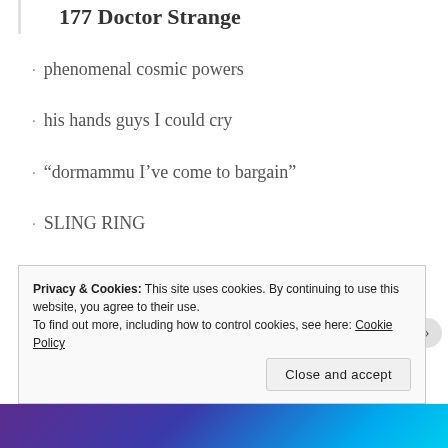177 Doctor Strange
phenomenal cosmic powers
his hands guys I could cry
“dormammu I’ve come to bargain”
SLING RING
cloak of levitation and strange bffs
Privacy & Cookies: This site uses cookies. By continuing to use this website, you agree to their use.
To find out more, including how to control cookies, see here: Cookie Policy
Close and accept